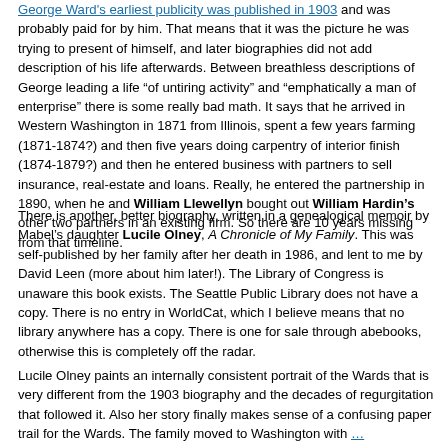George Ward's earliest publicity was published in 1903 and was probably paid for by him. That means that it was the picture he was trying to present of himself, and later biographies did not add description of his life afterwards. Between breathless descriptions of George leading a life “of untiring activity” and “emphatically a man of enterprise” there is some really bad math. It says that he arrived in Western Washington in 1871 from Illinois, spent a few years farming (1871-1874?) and then five years doing carpentry of interior finish (1874-1879?) and then he entered business with partners to sell insurance, real-estate and loans. Really, he entered the partnership in 1890, when he and William Llewellyn bought out William Hardin's other two partners in an existing firm. So there are 10 years missing from that timeline.
There is another, better biography, written in a genealogical memoir by Mabel’s daughter Lucile Olney, A Chronicle of My Family. This was self-published by her family after her death in 1986, and lent to me by David Leen (more about him later!). The Library of Congress is unaware this book exists. The Seattle Public Library does not have a copy. There is no entry in WorldCat, which I believe means that no library anywhere has a copy. There is one for sale through abebooks, otherwise this is completely off the radar.
Lucile Olney paints an internally consistent portrait of the Wards that is very different from the 1903 biography and the decades of regurgitation that followed it. Also her story finally makes sense of a confusing paper trail for the Wards. The family moved to Washington with …